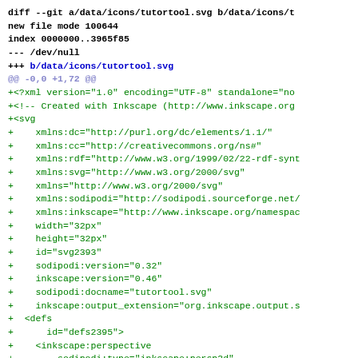diff --git a/data/icons/tutortool.svg b/data/icons/t
new file mode 100644
index 0000000..3965f85
--- /dev/null
+++ b/data/icons/tutortool.svg
@@ -0,0 +1,72 @@
+<?xml version="1.0" encoding="UTF-8" standalone="no
+<!-- Created with Inkscape (http://www.inkscape.org
+<svg
+    xmlns:dc="http://purl.org/dc/elements/1.1/"
+    xmlns:cc="http://creativecommons.org/ns#"
+    xmlns:rdf="http://www.w3.org/1999/02/22-rdf-synt
+    xmlns:svg="http://www.w3.org/2000/svg"
+    xmlns="http://www.w3.org/2000/svg"
+    xmlns:sodipodi="http://sodipodi.sourceforge.net/
+    xmlns:inkscape="http://www.inkscape.org/namespac
+    width="32px"
+    height="32px"
+    id="svg2393"
+    sodipodi:version="0.32"
+    inkscape:version="0.46"
+    sodipodi:docname="tutortool.svg"
+    inkscape:output_extension="org.inkscape.output.s
+  <defs
+      id="defs2395">
+    <inkscape:perspective
+        sodipodi:type="inkscape:persp3d"
+        inkscape:vp_x="0 : 16 : 1"
+        inkscape:vp_y="0 : 1000 : 0"
+        inkscape:vp_z="32 : 16 : 1"